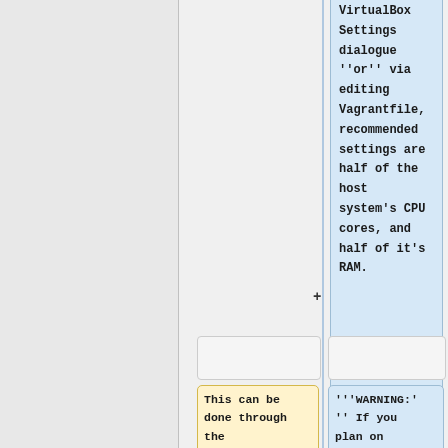VirtualBox Settings dialogue ''or'' via editing Vagrantfile, recommended settings are half of the host system's CPU cores, and half of it's RAM.
This can be done through the VirtualBox Settings
'''WARNING:''' If you plan on editing Vagrantfile,